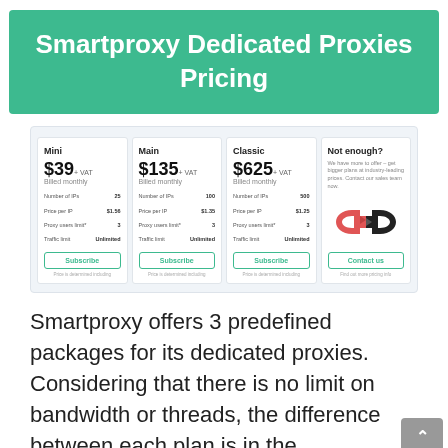Smartproxy Dedicated Proxies Pricing
[Figure (screenshot): Pricing cards for Smartproxy Dedicated Proxies showing Mini ($39+VAT), Main ($135+VAT), Classic ($625+VAT), and Not enough? contact card with Smartproxy logo]
Smartproxy offers 3 predefined packages for its dedicated proxies. Considering that there is no limit on bandwidth or threads, the difference between each plan is in the